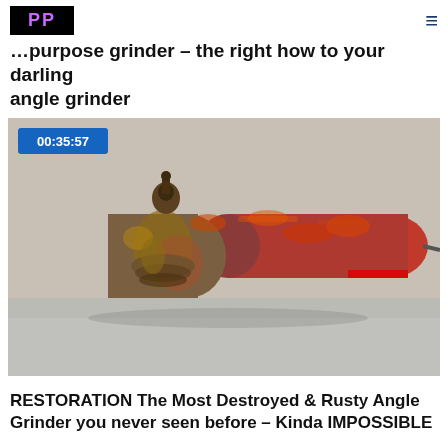PP
...purpose grinder – the right how to your darling angle grinder
[Figure (photo): Heavily rusted and deteriorated angle grinder lying on a light concrete surface, showing extreme corrosion with red, brown, and orange rust covering the entire tool body. Timestamp overlay 00:35:57 in blue box at top left.]
RESTORATION The Most Destroyed & Rusty Angle Grinder you never seen before – Kinda IMPOSSIBLE